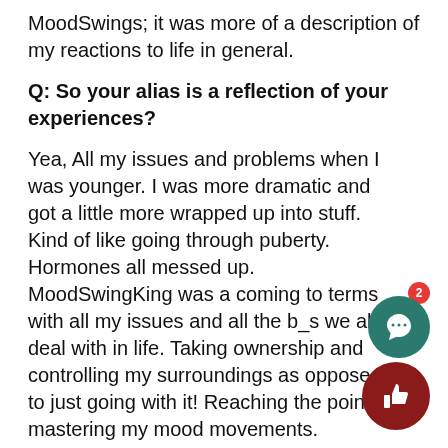MoodSwings; it was more of a description of my reactions to life in general.
Q: So your alias is a reflection of your experiences?
Yea, All my issues and problems when I was younger. I was more dramatic and got a little more wrapped up into stuff. Kind of like going through puberty. Hormones all messed up. MoodSwingKing was a coming to terms with all my issues and all the b_s we all deal with in life. Taking ownership and controlling my surroundings as opposed to just going with it! Reaching the point of mastering my mood movements.
Q: So you're Nigerian, right?  It must have been hard adjusting?